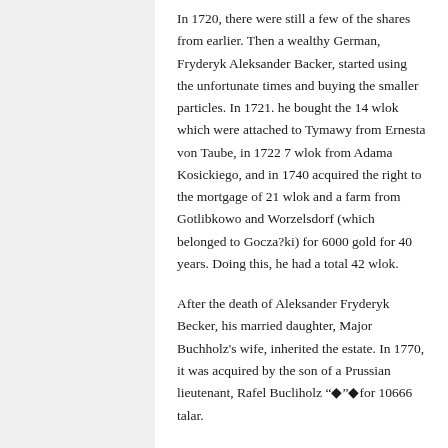In 1720, there were still a few of the shares from earlier. Then a wealthy German, Fryderyk Aleksander Backer, started using the unfortunate times and buying the smaller particles. In 1721. he bought the 14 wlok which were attached to Tymawy from Ernesta von Taube, in 1722 7 wlok from Adama Kosickiego, and in 1740 acquired the right to the mortgage of 21 wlok and a farm from Gotlibkowo and Worzelsdorf (which belonged to Gocza?ki) for 6000 gold for 40 years. Doing this, he had a total 42 wlok.
After the death of Aleksander Fryderyk Becker, his married daughter, Major Buchholz's wife, inherited the estate. In 1770, it was acquired by the son of a Prussian lieutenant, Rafel Bucliholz "◆"◆for 10666 talar.
In 1780, Captain Jan Karol Brandt is the new owner...